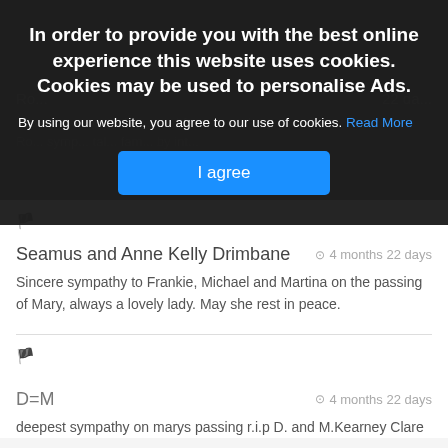In order to provide you with the best online experience this website uses cookies. Cookies may be used to personalise Ads.
By using our website, you agree to our use of cookies. Read More
I agree
Seamus and Anne Kelly Drimbane  ⊙ 4 months 22 days
Sincere sympathy to Frankie, Michael and Martina on the passing of Mary, always a lovely lady. May she rest in peace.
D=M  ⊙ 4 months 22 days
deepest sympathy on marys passing r.i.p D. and M.Kearney Clare